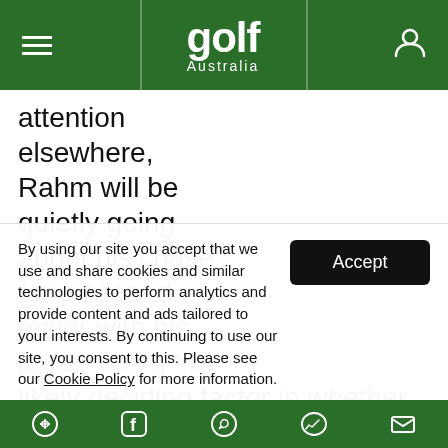golf Australia
attention elsewhere, Rahm will be quietly going about his chase for a second major with his putter being the likely deciding factor in whether he can lift the Wanamaker Trophy.
By using our site you accept that we use and share cookies and similar technologies to perform analytics and provide content and ads tailored to your interests. By continuing to use our site, you consent to this. Please see our Cookie Policy for more information.
social share bar